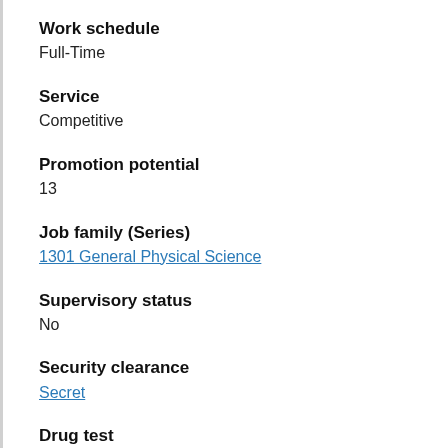Work schedule
Full-Time
Service
Competitive
Promotion potential
13
Job family (Series)
1301 General Physical Science
Supervisory status
No
Security clearance
Secret
Drug test
No